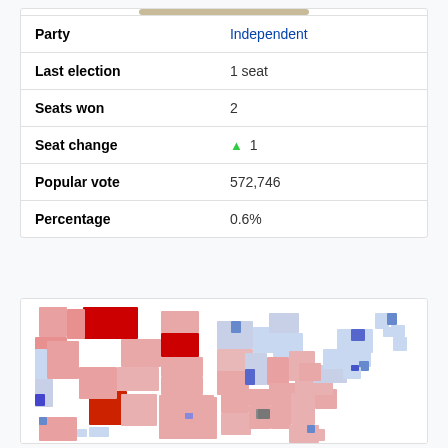| Field | Value |
| --- | --- |
| Party | Independent |
| Last election | 1 seat |
| Seats won | 2 |
| Seat change | ▲ 1 |
| Popular vote | 572,746 |
| Percentage | 0.6% |
[Figure (map): US congressional election map showing districts colored in shades of red (Republican) and blue (Democrat), with some gray districts. The map shows a majority of red/pink states in the interior and mixed blue/red districts on the coasts and Midwest.]